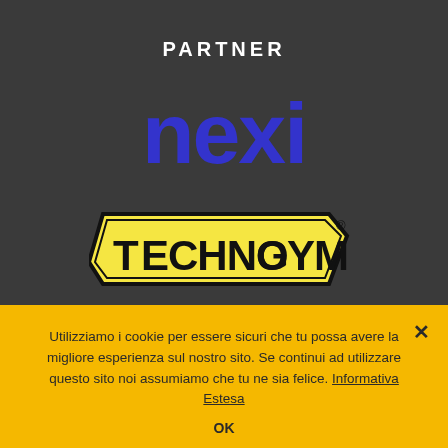PARTNER
[Figure (logo): Nexi logo — bold blue lowercase text 'nexi' on dark background]
[Figure (logo): Technogym logo — yellow badge shape with black border, text 'TechnoGym' with registered trademark symbol]
Utilizziamo i cookie per essere sicuri che tu possa avere la migliore esperienza sul nostro sito. Se continui ad utilizzare questo sito noi assumiamo che tu ne sia felice. Informativa Estesa
OK